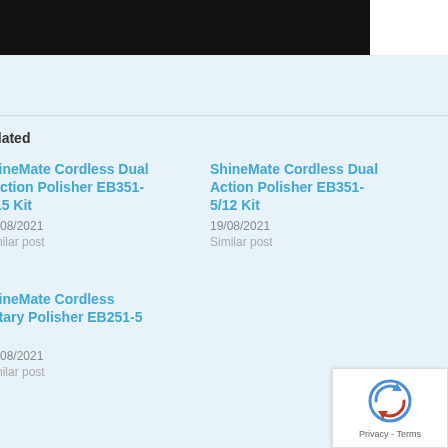[Figure (photo): Dark/black photograph partially visible at top of page]
Related
ShineMate Cordless Dual Action Polisher EB351-5/15 Kit
19/08/2021
Similar post
ShineMate Cordless Dual Action Polisher EB351-5/12 Kit
19/08/2021
Similar post
ShineMate Cordless Rotary Polisher EB251-5 Kit
19/08/2021
Similar post
[Figure (other): reCAPTCHA badge with Privacy and Terms links]